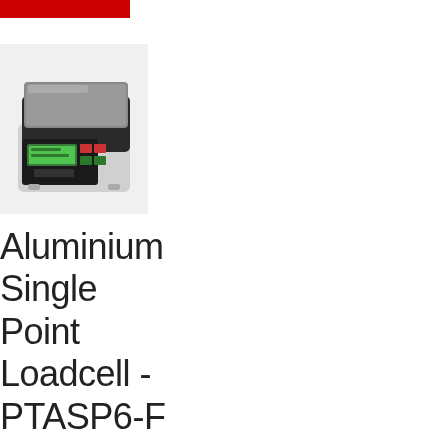[Figure (photo): A digital kitchen/postal scale with a stainless steel weighing platform on top, black body with a green LCD display and colored buttons, sitting on a white background.]
Aluminium Single Point Loadcell - PTASP6-F - PTGlobal.c om